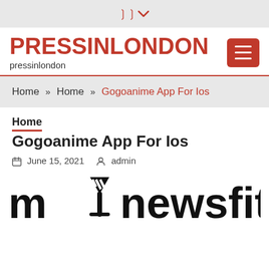▾
PRESSINLONDON
pressinlondon
Home » Home » Gogoanime App For Ios
Home
Gogoanime App For Ios
June 15, 2021   admin
[Figure (logo): MY NEWSFIT logo in large bold black text with a stylized cocktail glass icon]